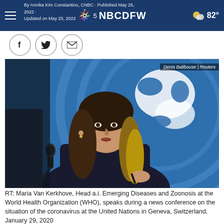By Annika Kim Constantino, CNBC · Published May 25, 2022 · Updated on May 25, 2022 | NBC5 NBCDFW | 82°
[Figure (logo): NBC5 NBCDFW logo with peacock icon and weather temperature 82°]
[Figure (photo): Maria Van Kerkhove, Head a.i. Emerging Diseases and Zoonosis at the World Health Organization, speaks at microphone in front of UN globe logo background. Photo credit: Denis Balibouse | Reuters]
RT: Maria Van Kerkhove, Head a.i. Emerging Diseases and Zoonosis at the World Health Organization (WHO), speaks during a news conference on the situation of the coronavirus at the United Nations in Geneva, Switzerland, January 29, 2020